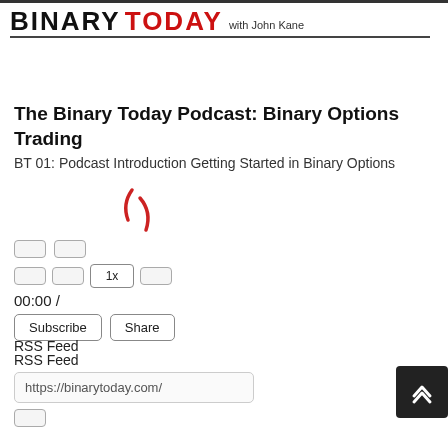BINARY TODAY with John Kane
The Binary Today Podcast: Binary Options Trading
BT 01: Podcast Introduction Getting Started in Binary Options
[Figure (other): Audio player UI with spinner/loading indicator, playback controls, speed button (1x), time display (00:00 /), Subscribe and Share buttons, RSS Feed input field showing https://binarytoday.com/]
00:00 /
Subscribe
Share
RSS Feed
https://binarytoday.com/